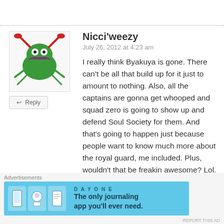Nicci'weezy
July 26, 2012 at 4:23 am
I really think Byakuya is gone. There can't be all that build up for it just to amount to nothing. Also, all the captains are gonna get whooped and squad zero is going to show up and defend Soul Society for them. And that's going to happen just because people want to know much more about the royal guard, me included. Plus, wouldn't that be freakin awesome? Lol.
Like
Advertisements
[Figure (screenshot): Day One journaling app advertisement banner with text 'The only journaling app you'll ever need.']